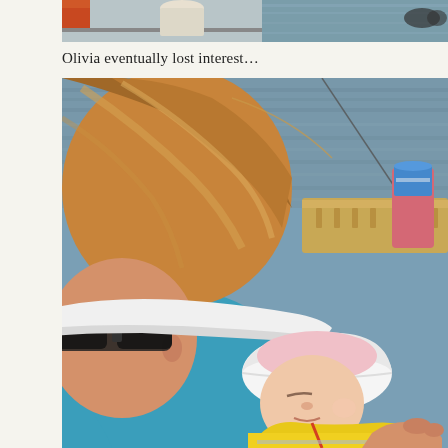[Figure (photo): Partial top photo showing a boat scene with an orange item, a cup, and water/railing in the background, cropped at top of page.]
Olivia eventually lost interest…
[Figure (photo): A woman wearing sunglasses and a white visor hat with reddish-blonde hair holds a sleeping baby wearing a white sun hat and yellow life jacket on a fishing boat. A fishing rod, wooden rod holder, and a pink drink koozie with a can are visible in the background over water.]